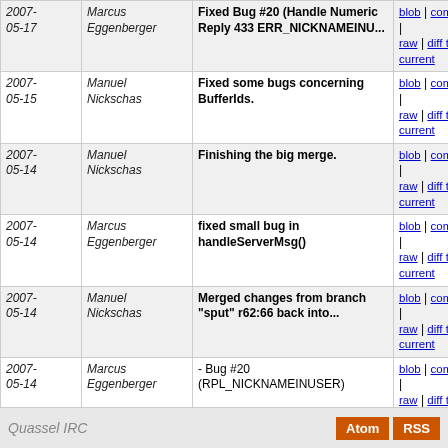| Date | Author | Message | Links |
| --- | --- | --- | --- |
| 2007-05-17 | Marcus Eggenberger | Fixed Bug #20 (Handle Numeric Reply 433 ERR_NICKNAMEINU... | blob | commitdiff | raw | diff to current |
| 2007-05-15 | Manuel Nickschas | Fixed some bugs concerning BufferIds. | blob | commitdiff | raw | diff to current |
| 2007-05-14 | Manuel Nickschas | Finishing the big merge. | blob | commitdiff | raw | diff to current |
| 2007-05-14 | Marcus Eggenberger | fixed small bug in handleServerMsg() | blob | commitdiff | raw | diff to current |
| 2007-05-14 | Manuel Nickschas | Merged changes from branch "sput" r62:66 back into... | blob | commitdiff | raw | diff to current |
| 2007-05-14 | Marcus Eggenberger | - Bug #20 (RPL_NICKNAMEINUSER) | blob | commitdiff | raw | diff to current |
| 2007-05-04 | Manuel Nickschas | Merged changes from branch "sput" r56:61 back into... | blob | commitdiff | raw | diff to current |
| 2006-11-12 | Marco Genise | Added performlist support. | blob | commitdiff | raw | diff to current |
| 2006-11-05 | Manuel Nickschas | After quite a while, we have another big SVN update... | blob | commitdiff | raw | diff to current |
Quassel IRC   Atom  RSS